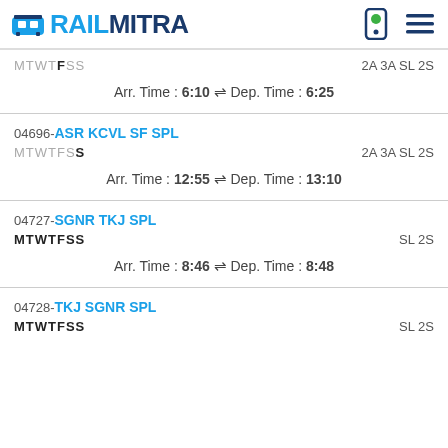RAILMITRA
MTWTFSS  2A 3A SL 2S
Arr. Time : 6:10 ⇌ Dep. Time : 6:25
04696-ASR KCVL SF SPL
MTWTFSS  2A 3A SL 2S
Arr. Time : 12:55 ⇌ Dep. Time : 13:10
04727-SGNR TKJ SPL
MTWTFSS  SL 2S
Arr. Time : 8:46 ⇌ Dep. Time : 8:48
04728-TKJ SGNR SPL
MTWTFSS  SL 2S